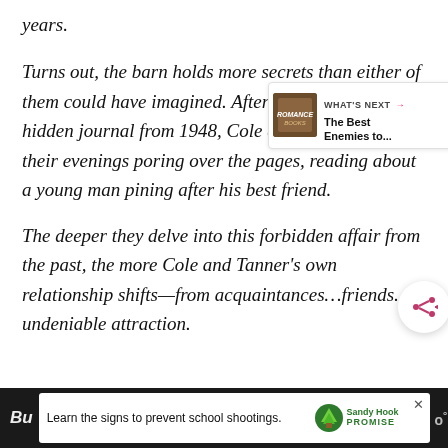years.
Turns out, the barn holds more secrets than either of them could have imagined. After unearthing a hidden journal from 1948, Cole and Tanner spend their evenings poring over the pages, reading about a young man pining after his best friend.
The deeper they delve into this forbidden affair from the past, the more Cole and Tanner's own relationship shifts—from acquaintances…friends…to undeniable attraction.
[Figure (infographic): Share widget button (circular white button with share icon) and 'What's Next' recommendation widget showing 'The Best Enemies to...' book recommendation]
[Figure (infographic): Sandy Hook Promise advertisement banner: 'Learn the signs to prevent school shootings.' with tree logo and Sandy Hook Promise text]